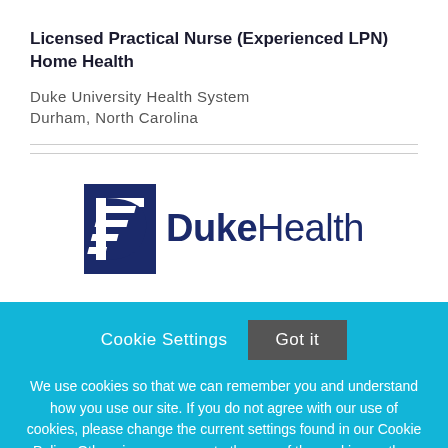Licensed Practical Nurse (Experienced LPN) Home Health
Duke University Health System
Durham, North Carolina
[Figure (logo): Duke Health logo with blue shield icon and 'DukeHealth' text in dark navy blue]
Cookie Settings  Got it
We use cookies so that we can remember you and understand how you use our site. If you do not agree with our use of cookies, please change the current settings found in our Cookie Policy. Otherwise, you agree to the use of the cookies as they are currently set.